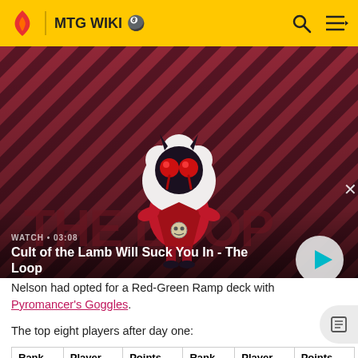MTG WIKI
[Figure (screenshot): Video thumbnail for 'Cult of the Lamb Will Suck You In - The Loop' with a cartoon lamb character on a red diagonal striped background. Shows WATCH • 03:08 and a play button.]
Nelson had opted for a Red-Green Ramp deck with Pyromancer's Goggles.
The top eight players after day one:
| Rank | Player | Points | Rank | Player | Points |
| --- | --- | --- | --- | --- | --- |